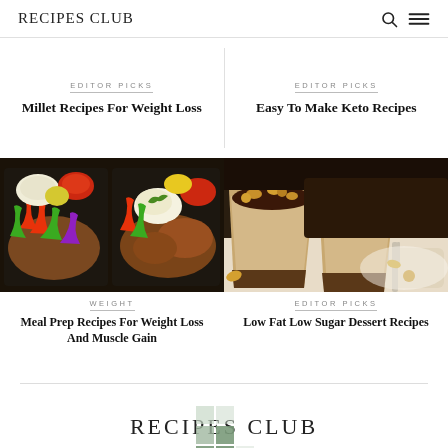RECIPES CLUB
EDITOR PICKS
Millet Recipes For Weight Loss
EDITOR PICKS
Easy To Make Keto Recipes
[Figure (photo): Meal prep containers with vegetables, rice, and seasoned chicken/protein]
WEIGHT
Meal Prep Recipes For Weight Loss And Muscle Gain
[Figure (photo): Slice of creamy peanut/coffee cheesecake with nuts on top]
EDITOR PICKS
Low Fat Low Sugar Dessert Recipes
RECIPES CLUB